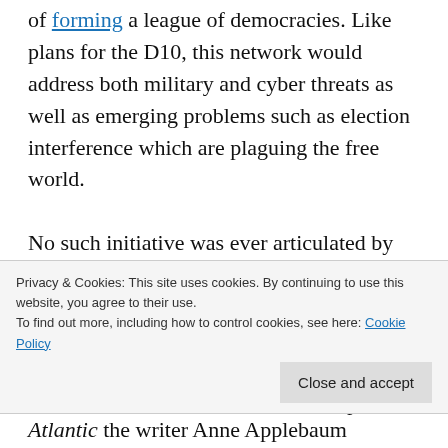of forming a league of democracies. Like plans for the D10, this network would address both military and cyber threats as well as emerging problems such as election interference which are plaguing the free world.

No such initiative was ever articulated by Donald Trump, who spent his presidency telling allies to cough up the cash for their defence. Nor could it have been realised. Not only is Biden a leader who wants to lead other countries, he unlike Trump is a
Privacy & Cookies: This site uses cookies. By continuing to use this website, you agree to their use.
To find out more, including how to control cookies, see here: Cookie Policy
Close and accept
Atlantic the writer Anne Applebaum highlighted a